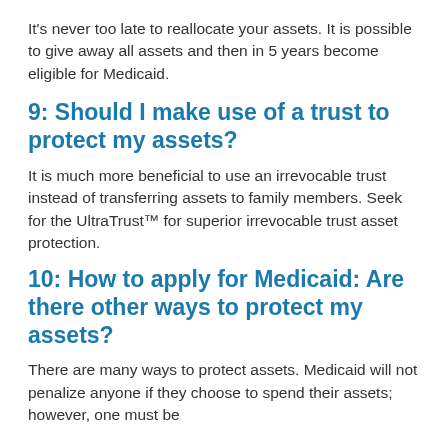It's never too late to reallocate your assets. It is possible to give away all assets and then in 5 years become eligible for Medicaid.
9: Should I make use of a trust to protect my assets?
It is much more beneficial to use an irrevocable trust instead of transferring assets to family members. Seek for the UltraTrust™ for superior irrevocable trust asset protection.
10: How to apply for Medicaid: Are there other ways to protect my assets?
There are many ways to protect assets. Medicaid will not penalize anyone if they choose to spend their assets; however, one must be careful to avoid fraudulent...